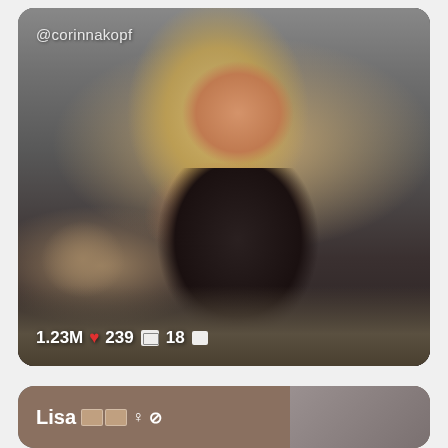[Figure (photo): Social media profile card showing a blonde woman in a dark top sitting on a floor with a dog behind her. Username @corinnakopf shown top-left. Stats at bottom: 1.23M heart 239 image-icon 18 video-icon]
@corinnakopf
1.23M ❤ 239 🖼 18 🎬
[Figure (photo): Partial view of a second profile card showing 'Lisa' with flag emojis, female symbol, and verified checkmark icon. Background shows a blurred room.]
Lisa ♀ ✓